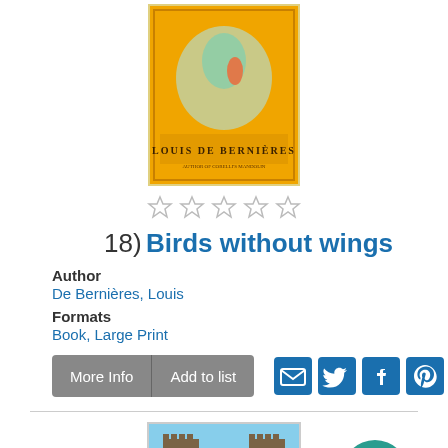[Figure (illustration): Book cover for 'Birds Without Wings' by Louis de Bernières, yellow/orange cover with illustrated figures]
[Figure (other): Five empty star rating icons]
18)  Birds without wings
Author
De Bernières, Louis
Formats
Book, Large Print
[Figure (screenshot): More Info and Add to list buttons, plus email, Twitter, Facebook, Pinterest social share icons]
[Figure (photo): Photo of a Gothic cathedral gate/archway building]
[Figure (other): Teal circular up-arrow scroll-to-top button]